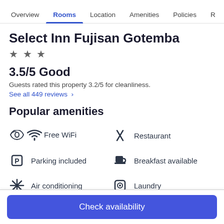Overview | Rooms | Location | Amenities | Policies | R
Select Inn Fujisan Gotemba
★ ★ ★
3.5/5 Good
Guests rated this property 3.2/5 for cleanliness.
See all 449 reviews >
Popular amenities
Free WiFi
Restaurant
Parking included
Breakfast available
Air conditioning
Laundry
Check availability